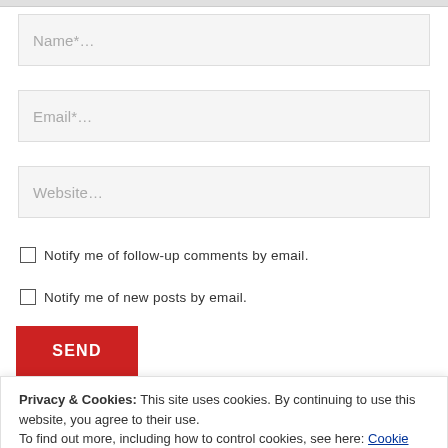Name*...
Email*...
Website...
Notify me of follow-up comments by email.
Notify me of new posts by email.
SEND
Privacy & Cookies: This site uses cookies. By continuing to use this website, you agree to their use. To find out more, including how to control cookies, see here: Cookie Policy
Close and accept
© COPYRIGHT DANIEL WOODRUM, TAKEMYTRIP.COM. ALL RIGHTS RESERVED.